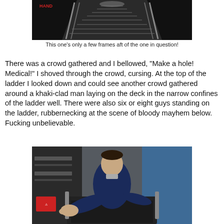[Figure (photo): Ship interior staircase/ladder looking down a narrow passageway with handrails on both sides, 'HAND' text visible in red on the left wall]
This one's only a few frames aft of the one in question!
There was a crowd gathered and I bellowed, "Make a hole! Medical!" I shoved through the crowd, cursing. At the top of the ladder I looked down and could see another crowd gathered around a khaki-clad man laying on the deck in the narrow confines of the ladder well. There were also six or eight guys standing on the ladder, rubbernecking at the scene of bloody mayhem below. Fucking unbelievable.
[Figure (photo): A sailor in navy blue uniform climbing up a ship ladder/hatch, reaching toward the camera with one hand]